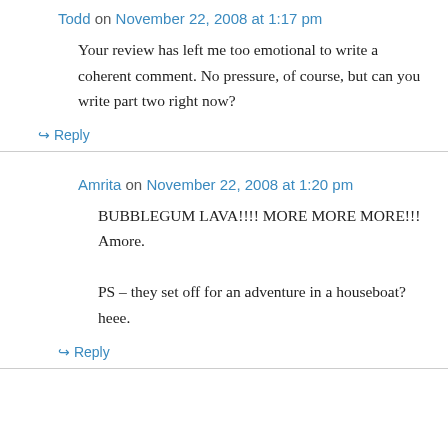Todd on November 22, 2008 at 1:17 pm
Your review has left me too emotional to write a coherent comment. No pressure, of course, but can you write part two right now?
↳ Reply
Amrita on November 22, 2008 at 1:20 pm
BUBBLEGUM LAVA!!!! MORE MORE MORE!!! Amore.

PS – they set off for an adventure in a houseboat? heee.
↳ Reply